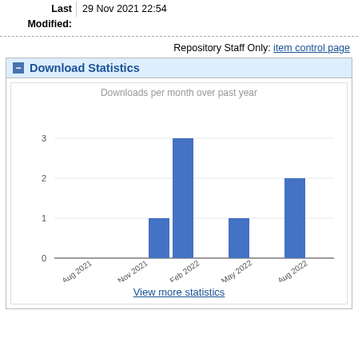Last Modified: 29 Nov 2021 22:54
Repository Staff Only: item control page
Download Statistics
[Figure (bar-chart): Downloads per month over past year]
View more statistics